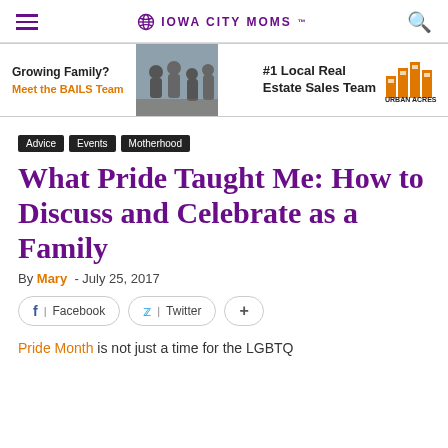IOWA CITY MOMS
[Figure (infographic): Advertisement banner for Urban Acres real estate team: 'Growing Family? Meet the BAILS Team' with family photo and '#1 Local Real Estate Sales Team' with Urban Acres logo]
Advice
Events
Motherhood
What Pride Taught Me: How to Discuss and Celebrate as a Family
By Mary - July 25, 2017
Facebook  Twitter  +
Pride Month is not just a time for the LGBTQ